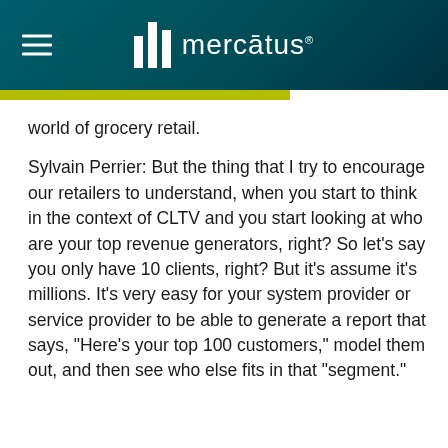mercātus
world of grocery retail.
Sylvain Perrier: But the thing that I try to encourage our retailers to understand, when you start to think in the context of CLTV and you start looking at who are your top revenue generators, right? So let's say you only have 10 clients, right? But it's assume it's millions. It's very easy for your system provider or service provider to be able to generate a report that says, “Here’s your top 100 customers,” model them out, and then see who else fits in that “segment.”